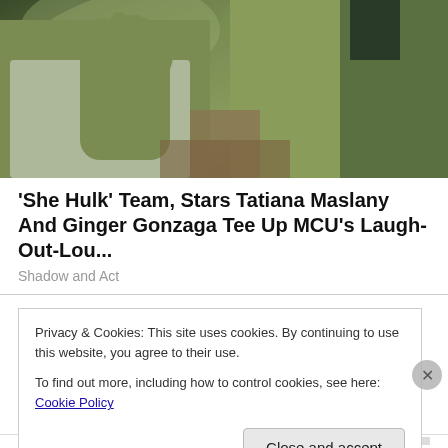[Figure (photo): Two green-skinned Hulk characters facing each other with hands raised in a sparring or training pose, outdoors with foliage in background.]
'She Hulk' Team, Stars Tatiana Maslany And Ginger Gonzaga Tee Up MCU's Laugh-Out-Lou...
Shadow and Act
Share this:
Privacy & Cookies: This site uses cookies. By continuing to use this website, you agree to their use.
To find out more, including how to control cookies, see here: Cookie Policy
Close and accept